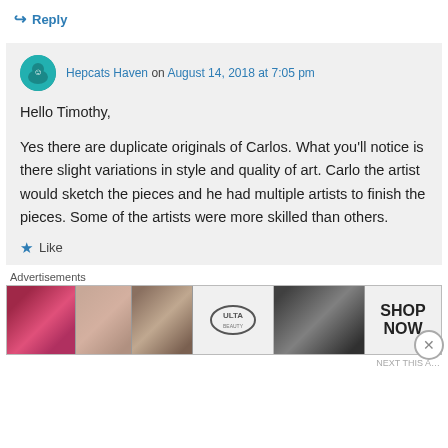↳ Reply
Hepcats Haven on August 14, 2018 at 7:05 pm
Hello Timothy,

Yes there are duplicate originals of Carlos. What you'll notice is there slight variations in style and quality of art. Carlo the artist would sketch the pieces and he had multiple artists to finish the pieces. Some of the artists were more skilled than others.
★ Like
Advertisements
[Figure (photo): Advertisement banner for ULTA beauty showing cosmetic imagery including lips, makeup brush, eye, ULTA logo, more eyes, and SHOP NOW text]
NEXT THIS A…